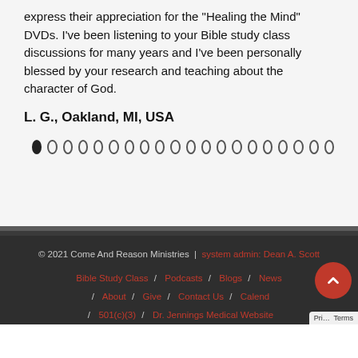express their appreciation for the "Healing the Mind" DVDs. I've been listening to your Bible study class discussions for many years and I've been personally blessed by your research and teaching about the character of God.
L. G., Oakland, MI, USA
[Figure (other): Pagination dots: one filled black circle followed by 19 empty circles]
© 2021 Come And Reason Ministries | system admin: Dean A. Scott / Bible Study Class / Podcasts / Blogs / News / About / Give / Contact Us / Calendar / 501(c)(3) / Dr. Jennings Medical Website